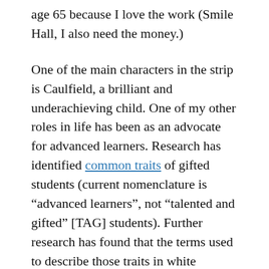age 65 because I love the work (Smile Hall, I also need the money.)
One of the main characters in the strip is Caulfield, a brilliant and underachieving child. One of my other roles in life has been as an advocate for advanced learners. Research has identified common traits of gifted students (current nomenclature is “advanced learners”, not “talented and gifted” [TAG] students). Further research has found that the terms used to describe those traits in white students and the same traits in students of color (particularly African American) are different. Donna Y. Ford is a prominent researcher in this field.